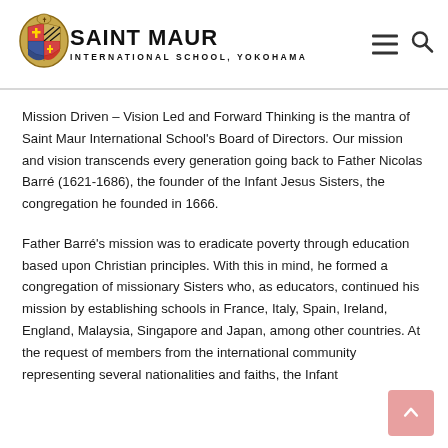SAINT MAUR INTERNATIONAL SCHOOL, YOKOHAMA
Mission Driven – Vision Led and Forward Thinking is the mantra of Saint Maur International School's Board of Directors. Our mission and vision transcends every generation going back to Father Nicolas Barré (1621-1686), the founder of the Infant Jesus Sisters, the congregation he founded in 1666.
Father Barré's mission was to eradicate poverty through education based upon Christian principles. With this in mind, he formed a congregation of missionary Sisters who, as educators, continued his mission by establishing schools in France, Italy, Spain, Ireland, England, Malaysia, Singapore and Japan, among other countries. At the request of members from the international community representing several nationalities and faiths, the Infant